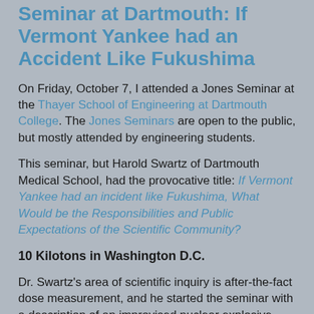Seminar at Dartmouth: If Vermont Yankee had an Accident Like Fukushima
On Friday, October 7, I attended a Jones Seminar at the Thayer School of Engineering at Dartmouth College. The Jones Seminars are open to the public, but mostly attended by engineering students.
This seminar, but Harold Swartz of Dartmouth Medical School, had the provocative title: If Vermont Yankee had an incident like Fukushima, What Would be the Responsibilities and Public Expectations of the Scientific Community?
10 Kilotons in Washington D.C.
Dr. Swartz's area of scientific inquiry is after-the-fact dose measurement, and he started the seminar with a description of an improvised nuclear explosive device going off in Washington D.C.. (Parenthetically, he said it would be easier to buy a bomb than to make one.) At that point in the seminar, since I know Dr. Swartz is a medical specialist in